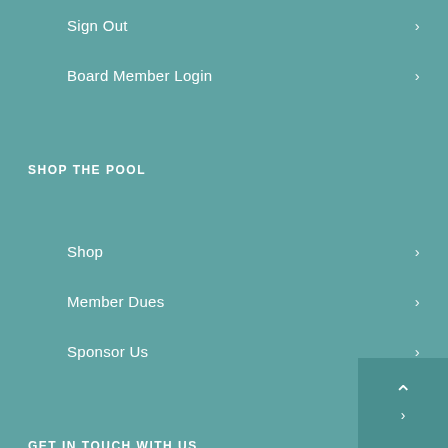Sign Out
Board Member Login
SHOP THE POOL
Shop
Member Dues
Sponsor Us
GET IN TOUCH WITH US
Contact